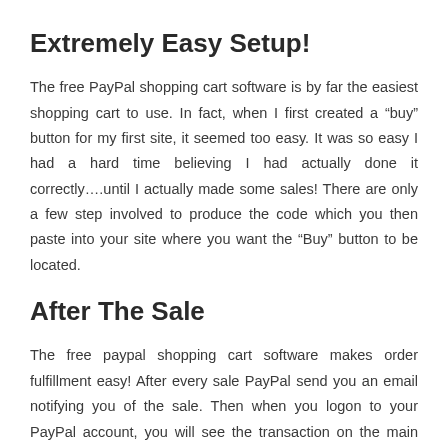Extremely Easy Setup!
The free PayPal shopping cart software is by far the easiest shopping cart to use. In fact, when I first created a “buy” button for my first site, it seemed too easy. It was so easy I had a hard time believing I had actually done it correctly….until I actually made some sales! There are only a few step involved to produce the code which you then paste into your site where you want the “Buy” button to be located.
After The Sale
The free paypal shopping cart software makes order fulfillment easy! After every sale PayPal send you an email notifying you of the sale. Then when you logon to your PayPal account, you will see the transaction on the main homepage. Click the transaction for its details and the...